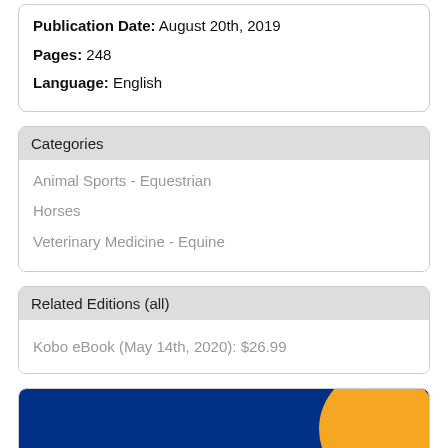Publication Date: August 20th, 2019
Pages: 248
Language: English
Categories
Animal Sports - Equestrian
Horses
Veterinary Medicine - Equine
Related Editions (all)
Kobo eBook (May 14th, 2020): $26.99
[Figure (illustration): Donate to [PayPal or library fund] button with blue background and yellow/orange circle graphic and yellow 'Donate to' text]